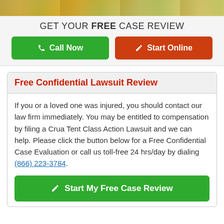[Figure (photo): Partial photo strip at top of page showing outdoor/nature scene with warm tones]
GET YOUR FREE CASE REVIEW
Call Now
Start Online
Free Confidential Lawsuit Review
If you or a loved one was injured, you should contact our law firm immediately. You may be entitled to compensation by filing a Crua Tent Class Action Lawsuit and we can help. Please click the button below for a Free Confidential Case Evaluation or call us toll-free 24 hrs/day by dialing (866) 223-3784.
Start My Free Case Review